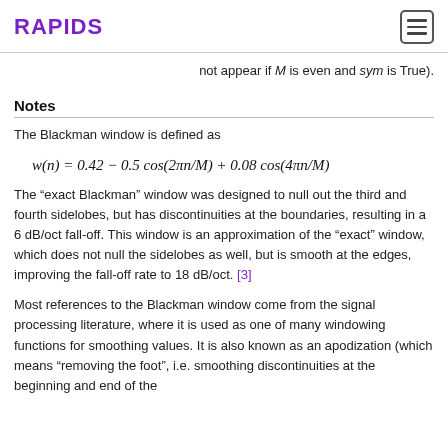RAPIDS
not appear if M is even and sym is True).
Notes
The Blackman window is defined as
The “exact Blackman” window was designed to null out the third and fourth sidelobes, but has discontinuities at the boundaries, resulting in a 6 dB/oct fall-off. This window is an approximation of the “exact” window, which does not null the sidelobes as well, but is smooth at the edges, improving the fall-off rate to 18 dB/oct. [3]
Most references to the Blackman window come from the signal processing literature, where it is used as one of many windowing functions for smoothing values. It is also known as an apodization (which means “removing the foot”, i.e. smoothing discontinuities at the beginning and end of the